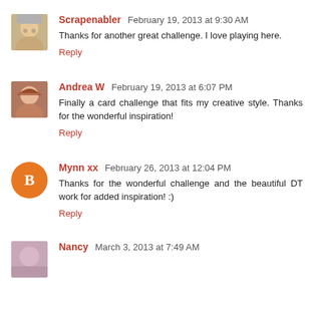Scrapenabler  February 19, 2013 at 9:30 AM
Thanks for another great challenge. I love playing here.
Reply
Andrea W  February 19, 2013 at 6:07 PM
Finally a card challenge that fits my creative style. Thanks for the wonderful inspiration!
Reply
Mynn xx  February 26, 2013 at 12:04 PM
Thanks for the wonderful challenge and the beautiful DT work for added inspiration! :)
Reply
Nancy  March 3, 2013 at 7:49 AM